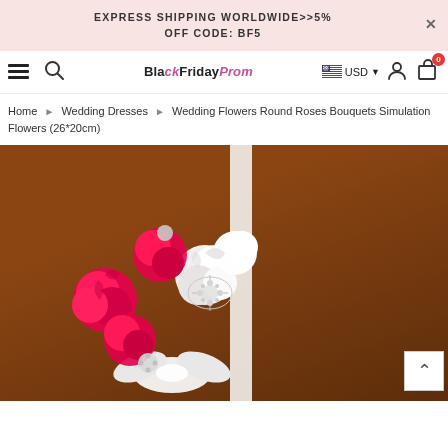EXPRESS SHIPPING WORLDWIDE>>5% OFF CODE: BF5
[Figure (screenshot): Website navigation bar with hamburger menu, search icon, BlackFridayProm logo, USD currency selector with US flag, user account icon, and cart icon with badge showing 0]
Home › Wedding Dresses › Wedding Flowers Round Roses Bouquets Simulation Flowers (26*20cm)
[Figure (photo): A round bridal bouquet with red/hot-pink and white satin roses decorated with rhinestone crystal brooches and a white satin bow, against a brown background with a white ribbon/pole visible]